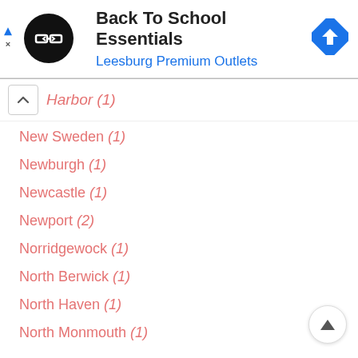[Figure (screenshot): Ad banner with black circular logo containing double-arrow icon, title 'Back To School Essentials', subtitle 'Leesburg Premium Outlets', and blue diamond navigation icon on right]
Harbor (1)
New Sweden (1)
Newburgh (1)
Newcastle (1)
Newport (2)
Norridgewock (1)
North Berwick (1)
North Haven (1)
North Monmouth (1)